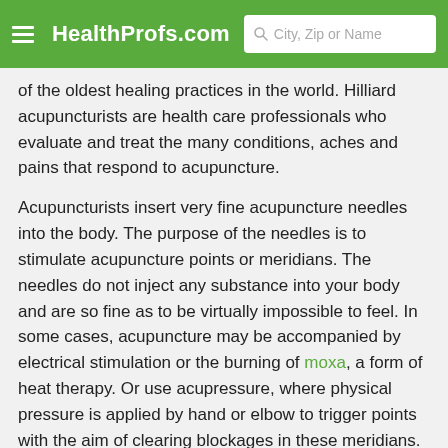HealthProfs.com | City, Zip or Name
of the oldest healing practices in the world. Hilliard acupuncturists are health care professionals who evaluate and treat the many conditions, aches and pains that respond to acupuncture.
Acupuncturists insert very fine acupuncture needles into the body. The purpose of the needles is to stimulate acupuncture points or meridians. The needles do not inject any substance into your body and are so fine as to be virtually impossible to feel. In some cases, acupuncture may be accompanied by electrical stimulation or the burning of moxa, a form of heat therapy. Or use acupressure, where physical pressure is applied by hand or elbow to trigger points with the aim of clearing blockages in these meridians.
If you are to ber...